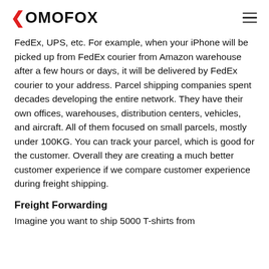OMOFOX
FedEx, UPS, etc. For example, when your iPhone will be picked up from FedEx courier from Amazon warehouse after a few hours or days, it will be delivered by FedEx courier to your address. Parcel shipping companies spent decades developing the entire network. They have their own offices, warehouses, distribution centers, vehicles, and aircraft. All of them focused on small parcels, mostly under 100KG. You can track your parcel, which is good for the customer. Overall they are creating a much better customer experience if we compare customer experience during freight shipping.
Freight Forwarding
Imagine you want to ship 5000 T-shirts from